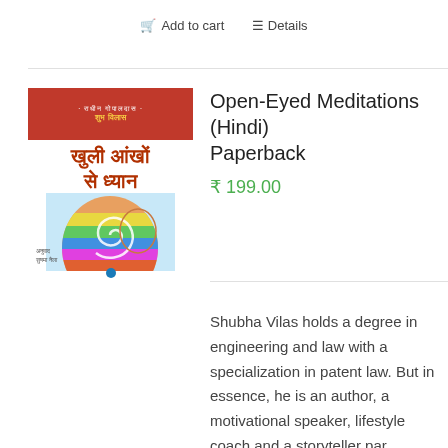Add to cart  Details
[Figure (illustration): Book cover for 'Open-Eyed Meditations' in Hindi (Khuli Aankhon Se Dhyan), featuring a colorful illustration of a human head silhouette with a spiral, red top banner with author name, Hindi title text in red on light background, bottom author credit and publisher dot logo.]
Open-Eyed Meditations (Hindi) Paperback
₹ 199.00
Shubha Vilas holds a degree in engineering and law with a specialization in patent law. But in essence, he is an author, a motivational speaker, lifestyle coach and a storyteller par excellence. He is the author of the best-selling book